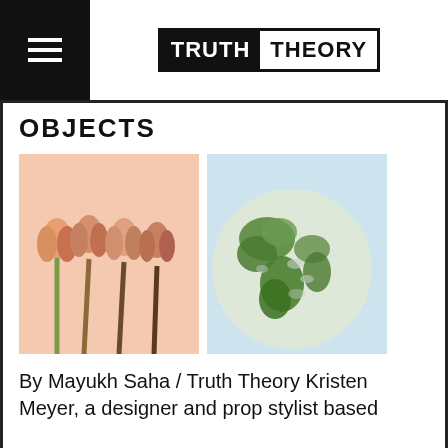TRUTH THEORY
OBJECTS
[Figure (photo): Two side-by-side images: left shows tulips on a peach/salmon background, right shows a globe made of moss and rocks on a light blue background]
By Mayukh Saha / Truth Theory Kristen Meyer, a designer and prop stylist based